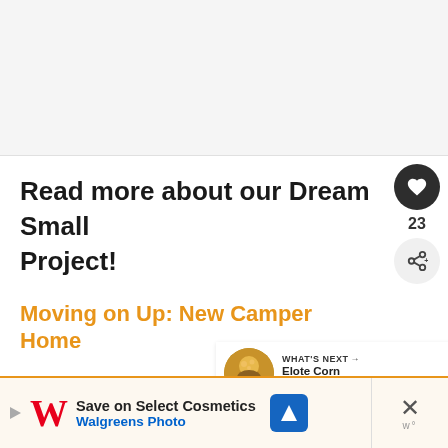[Figure (other): Gray content area at top of page]
Read more about our Dream Small Project!
Moving on Up: New Camper Home
Vintage Camper Turned Glamper
[Figure (infographic): WHAT'S NEXT arrow label with thumbnail image of Elote Corn (Mexican...) and social sidebar with heart button (23 likes) and share button]
[Figure (infographic): Advertisement bar: Save on Select Cosmetics - Walgreens Photo with W logo, navigation icon, and close X button]